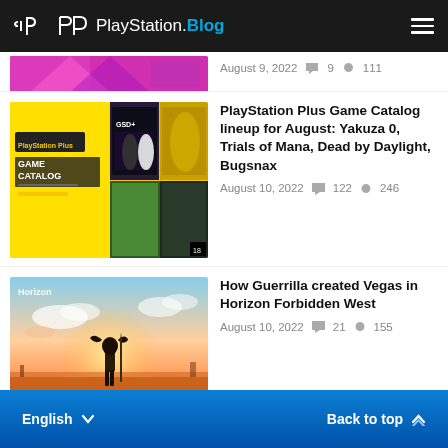PlayStation.Blog
[Figure (screenshot): Partial thumbnail of a colorful gaming article (pink/purple), partially visible at top]
August 9, 2022  9  111
[Figure (screenshot): PlayStation Plus Game Catalog promotional image showing Yakuza 0 and other games]
PlayStation Plus Game Catalog lineup for August: Yakuza 0, Trials of Mana, Dead by Daylight, Bugsnax
August 10, 2022  122  246
[Figure (photo): Horizon Forbidden West game art showing a character silhouetted against a dramatic desert sunset]
How Guerrilla created Vegas in Horizon Forbidden West
August 10, 2022  21  155
English  Back to top